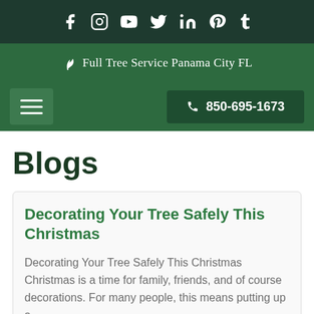Social media icons: Facebook, Instagram, YouTube, Twitter, LinkedIn, Pinterest, Tumblr
Full Tree Service Panama City FL
☰  📞 850-695-1673
Blogs
Decorating Your Tree Safely This Christmas
Decorating Your Tree Safely This Christmas Christmas is a time for family, friends, and of course decorations. For many people, this means putting up a